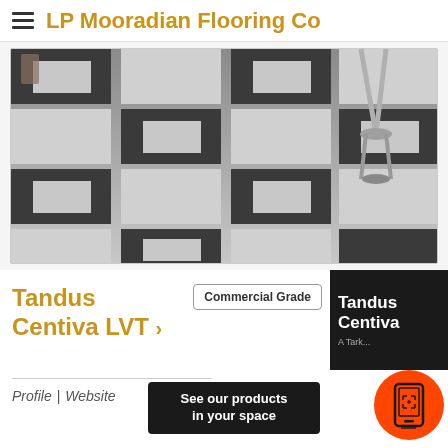LP Mooradian Flooring Co
[Figure (photo): Checkerboard pattern vinyl tile flooring in grey and white, with bar stools visible in upper right corner]
Tandus Centiva LVT
Commercial Grade
[Figure (logo): Tandus Centiva - A Tark... logo in white text on dark background]
See our products in your space
[Figure (illustration): AR augmented reality phone scan icon in orange circle]
Profile | Website